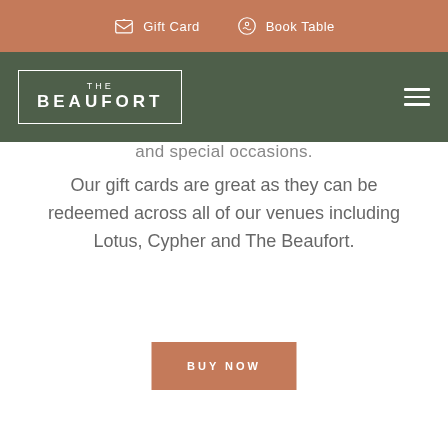Gift Card  Book Table
[Figure (logo): The Beaufort restaurant logo — white text in a bordered box on dark green background, with hamburger menu icon on the right]
and special occasions.
Our gift cards are great as they can be redeemed across all of our venues including Lotus, Cypher and The Beaufort.
BUY NOW